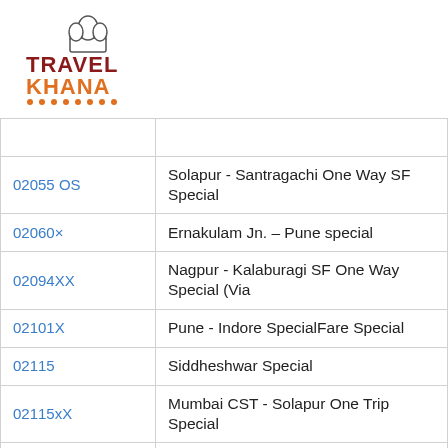[Figure (logo): Travel Khana logo with chef hat icon, TRAVEL in dark red/maroon, KHANA in orange, with orange dots underline]
| 02055 OS | Solapur - Santragachi One Way SF Special |
| 02060× | Ernakulam Jn. – Pune special |
| 02094XX | Nagpur - Kalaburagi SF One Way Special (Via… |
| 02101X | Pune - Indore SpecialFare Special |
| 02115 | Siddheshwar Special |
| 02115xX | Mumbai CST - Solapur One Trip Special |
| 02116 | Siddheshwar Special |
| 02123 | Deccan Queen SF Special |
| 02124 | Deccan Queen SF Special |
| 02125X | Pune – Jammu Tawi AC SF Special |